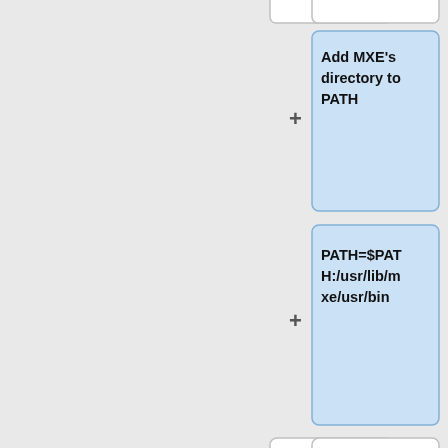[Figure (flowchart): A flowchart/diff view showing two columns of nodes. Left column (yellow) contains: empty box, '= Building Mumble and Murmur =', empty box, 'Once all of the above is done we can get to compiling Mumble'. Right column (blue) contains: empty box at top-right, 'Add MXE’s directory to PATH', 'PATH=$PATH:/usr/lib/mxe/usr/bin', empty box, '== Build =='. Plus and minus symbols mark additions/removals between columns.]